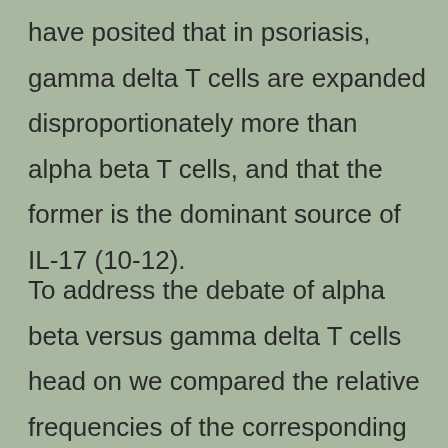have posited that in psoriasis, gamma delta T cells are expanded disproportionately more than alpha beta T cells, and that the former is the dominant source of IL-17 (10-12).
To address the debate of alpha beta versus gamma delta T cells head on we compared the relative frequencies of the corresponding alpha,